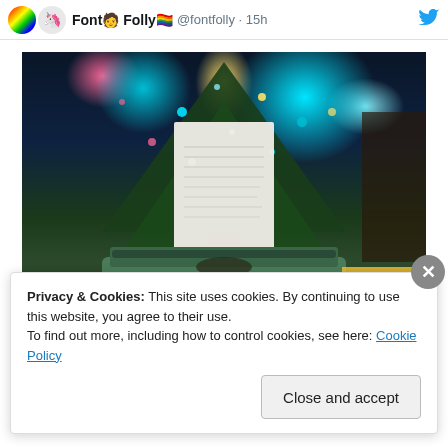Font🧑 Folly🏳️‍🌈 @fontfolly · 15h
[Figure (photo): A green vintage typewriter with paper loaded, photographed in front of a Christmas tree with colorful lights in the background. The scene is dimly lit with warm holiday ambiance.]
Privacy & Cookies: This site uses cookies. By continuing to use this website, you agree to their use. To find out more, including how to control cookies, see here: Cookie Policy
Close and accept